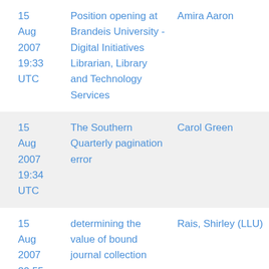| Date | Subject | Author |
| --- | --- | --- |
| 15 Aug 2007 19:33 UTC | Position opening at Brandeis University - Digital Initiatives Librarian, Library and Technology Services | Amira Aaron |
| 15 Aug 2007 19:34 UTC | The Southern Quarterly pagination error | Carol Green |
| 15 Aug 2007 20:55 UTC | determining the value of bound journal collection | Rais, Shirley (LLU) |